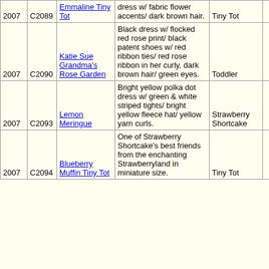| Year | Code | Name | Description | Type | Num | Edition |
| --- | --- | --- | --- | --- | --- | --- |
| 2007 | C2089 | Emmaline Tiny Tot | dress w/ fabric flower accents/ dark brown hair. | Tiny Tot | 5 | Open |
| 2007 | C2090 | Katie Sue Grandma's Rose Garden | Black dress w/ flocked red rose print/ black patent shoes w/ red ribbon ties/ red rose ribbon in her curly, dark brown hair/ green eyes. | Toddler | 14 | 1500 |
| 2007 | C2093 | Lemon Meringue | Bright yellow polka dot dress w/ green & white striped tights/ bright yellow fleece hat/ yellow yarn curls. | Strawberry Shortcake | 13 | 2500 |
| 2007 | C2094 | Blueberry Muffin Tiny Tot | One of Strawberry Shortcake's best friends from the enchanting Strawberryland in miniature size. | Tiny Tot | 5 | Open |